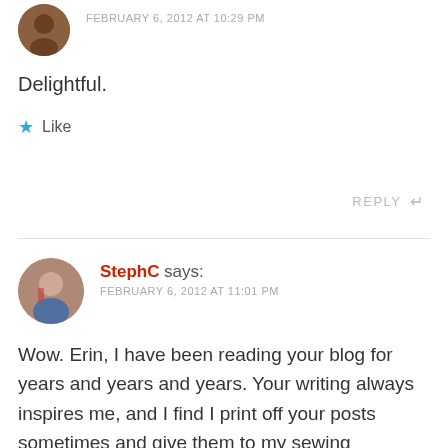[Figure (photo): Circular avatar image of a person, partially visible at top of page]
FEBRUARY 6, 2012 AT 10:29 PM
Delightful.
★ Like
REPLY ↩
[Figure (photo): Circular avatar photo of StephC, a woman with dark hair and red lipstick]
StephC says:
FEBRUARY 6, 2012 AT 11:01 PM
Wow. Erin, I have been reading your blog for years and years and years. Your writing always inspires me, and I find I print off your posts sometimes and give them to my sewing students. (Plaid = Joy changed my whole concept of dressing and personal style.)